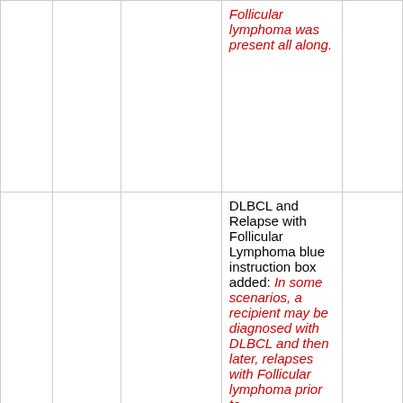|  |  |  | Follicular lymphoma was present all along. |  |
|  |  |  | DLBCL and Relapse with Follicular Lymphoma blue instruction box added: In some scenarios, a recipient may be diagnosed with DLBCL and then later, relapses with Follicular lymphoma prior to |  |